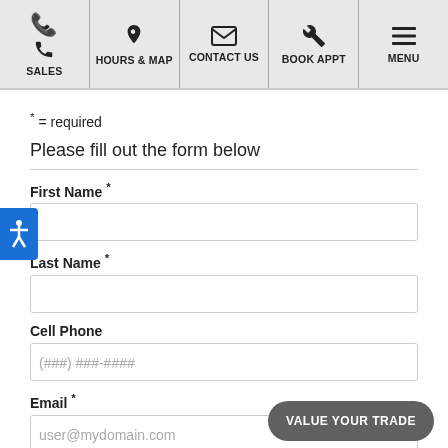[Figure (screenshot): Navigation bar with 5 items: SALES (phone icon), HOURS & MAP (map pin icon), CONTACT US (envelope icon), BOOK APPT (wrench icon), MENU (hamburger icon)]
* = required
Please fill out the form below
First Name *
Last Name *
Cell Phone
(###) ###-####
Email *
user@mydomain.com